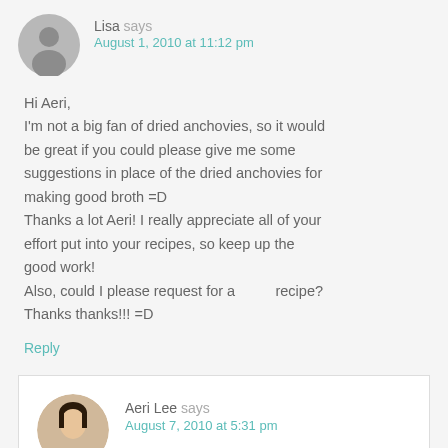Lisa says
August 1, 2010 at 11:12 pm
Hi Aeri,
I'm not a big fan of dried anchovies, so it would be great if you could please give me some suggestions in place of the dried anchovies for making good broth =D
Thanks a lot Aeri! I really appreciate all of your effort put into your recipes, so keep up the good work!
Also, could I please request for a        recipe?
Thanks thanks!!! =D
Reply
Aeri Lee says
August 7, 2010 at 5:31 pm